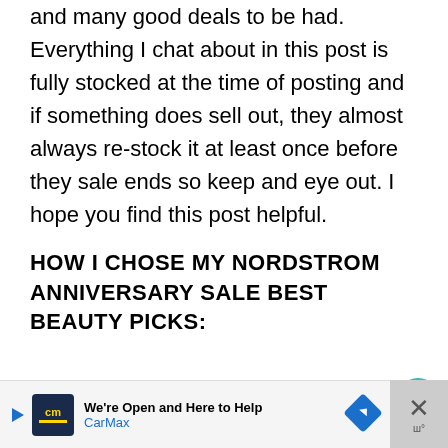and many good deals to be had. Everything I chat about in this post is fully stocked at the time of posting and if something does sell out, they almost always re-stock it at least once before they sale ends so keep and eye out. I hope you find this post helpful.
HOW I CHOSE MY NORDSTROM ANNIVERSARY SALE BEST BEAUTY PICKS:
I chose my best beauty picks based on wha I have personally used and loved.  Now is a great time to stock up on old favorites, try